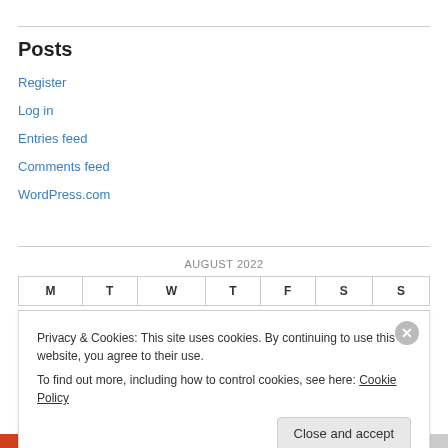Posts
Register
Log in
Entries feed
Comments feed
WordPress.com
AUGUST 2022
| M | T | W | T | F | S | S |
| --- | --- | --- | --- | --- | --- | --- |
Privacy & Cookies: This site uses cookies. By continuing to use this website, you agree to their use.
To find out more, including how to control cookies, see here: Cookie Policy
Close and accept